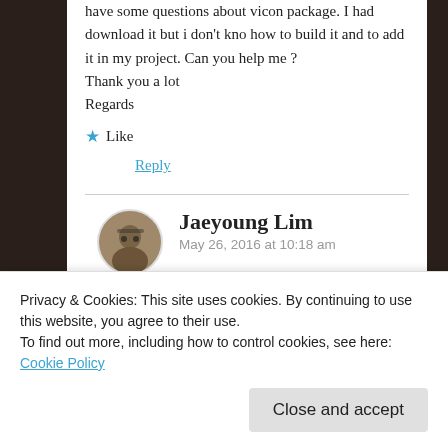have some questions about vicon package. I had download it but i don't kno how to build it and to add it in my project. Can you help me ?
Thank you a lot
Regards
★ Like
Reply
Jaeyoung Lim
May 26, 2016 at 10:18 am
Privacy & Cookies: This site uses cookies. By continuing to use this website, you agree to their use.
To find out more, including how to control cookies, see here: Cookie Policy
Close and accept